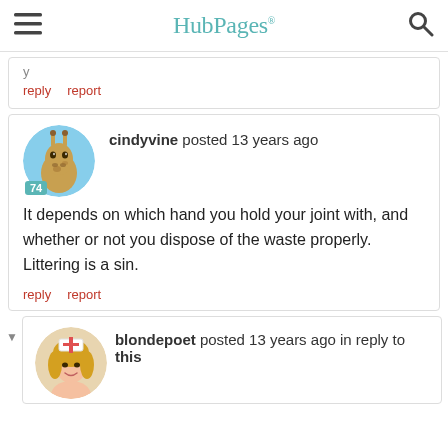HubPages
reply   report
cindyvine posted 13 years ago

It depends on which hand you hold your joint with, and whether or not you dispose of the waste properly. Littering is a sin.

reply   report
blondepoet posted 13 years ago in reply to this